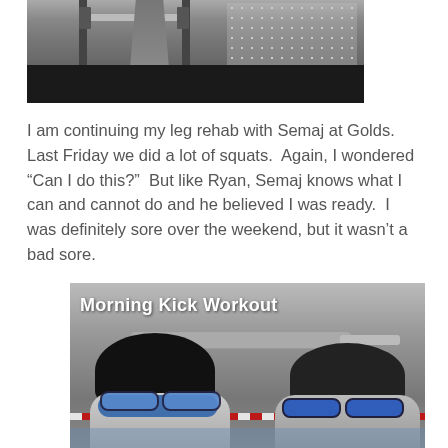[Figure (photo): Photo of a person doing squats in a gym with a barbell on a rack. Black background at bottom.]
I am continuing my leg rehab with Semaj at Golds.  Last Friday we did a lot of squats.  Again, I wondered “Can I do this?”  But like Ryan, Semaj knows what I can and cannot do and he believed I was ready.  I was definitely sore over the weekend, but it wasn’t a bad sore.
[Figure (photo): Photo of two swimmers in swim caps and goggles at an indoor pool with text overlay reading 'Morning Kick Workout'.]